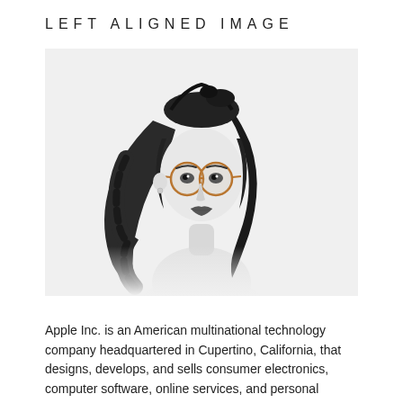LEFT ALIGNED IMAGE
[Figure (photo): Black and white portrait photo of a young woman with retro-styled hair and round glasses, artistic illustration style]
Apple Inc. is an American multinational technology company headquartered in Cupertino, California, that designs, develops, and sells consumer electronics, computer software, online services, and personal computers. Its best-known hardware products are the Mac line of computers, the iPod media player, the iPhone smartphone, the iPad tablet...